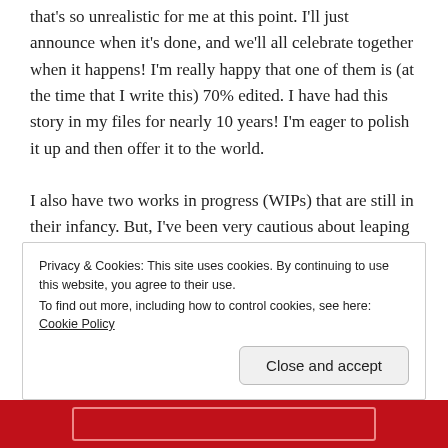that's so unrealistic for me at this point. I'll just announce when it's done, and we'll all celebrate together when it happens! I'm really happy that one of them is (at the time that I write this) 70% edited. I have had this story in my files for nearly 10 years! I'm eager to polish it up and then offer it to the world.
I also have two works in progress (WIPs) that are still in their infancy. But, I've been very cautious about leaping into new projects related to writing, because I have a history of strong starts and nonexistent endings. So I think about the stories but I don't invest a lot of time into writing them out, because if I did, I'd take too much
Privacy & Cookies: This site uses cookies. By continuing to use this website, you agree to their use.
To find out more, including how to control cookies, see here: Cookie Policy
Close and accept